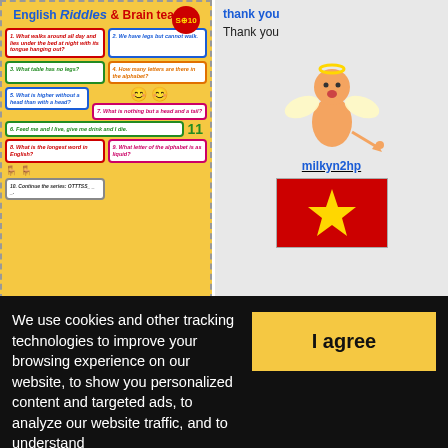[Figure (illustration): English Riddles and Brain teasers worksheet cover with colorful riddle boxes on yellow background]
English Riddles and Brain trainers (4)
Level: elementary
[Figure (illustration): Orange angel/cupid character with wings]
milkyn2hp
[Figure (illustration): Vietnamese flag - red background with yellow star]
Thank you
We use cookies and other tracking technologies to improve your browsing experience on our website, to show you personalized content and targeted ads, to analyze our website traffic, and to understand
I agree